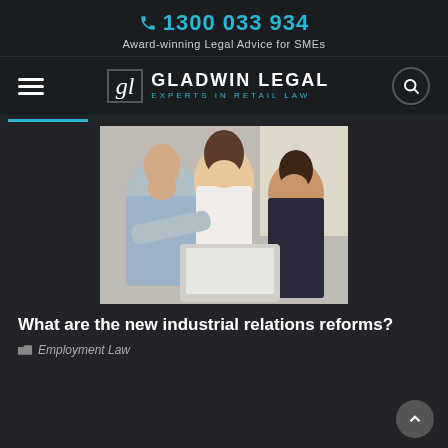1300 033 934
Award-winning Legal Advice for SMEs
[Figure (logo): Gladwin Legal logo with 'gl' monogram and text 'GLADWIN LEGAL - EXPERTS IN RETAIL LAW']
[Figure (photo): Three business professionals smiling and looking at a laptop screen together]
What are the new industrial relations reforms?
Employment Law